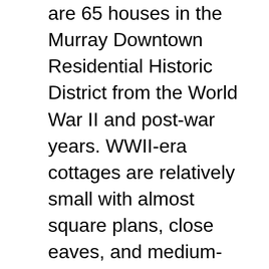are 65 houses in the Murray Downtown Residential Historic District from the World War II and post-war years. WWII-era cottages are relatively small with almost square plans, close eaves, and medium-pitched gable roofs. Garages are usually a separate building set to the rear of the lot. Minimal traditional styling is loosely based on the earlier period revival Tudor style with its front-facing cross gable and simpler styling elements. It also has elements of the simplicity of earlier Classical styling as well as some Colonial Revival touches such as decorative shutters. The style was popular in Utah from the late 1930s to the 1950s and is the dominant style in the Murray Downtown Residential Historic District, seen on 52 of the houses. A side-gabled minimal traditional style house has its entrance door in a small cross-gabled entry flanked by large window openings with smaller lights and metal sashes. It was built in 1935 and is found at 4850 South Wasatch Street. The side-gabled